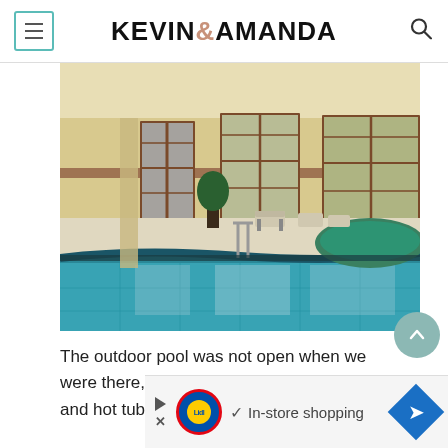KEVIN & AMANDA
[Figure (photo): Indoor swimming pool with blue tiled floor, large framed windows with wooden trim, yellow walls, poolside lounge chairs, a hot tub in the foreground right, and reflections on the calm water surface.]
The outdoor pool was not open when we were there, but they do have an indoor pool and hot tubs that are open year round.